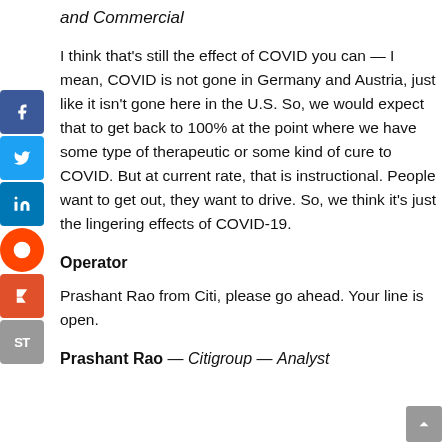and Commercial
I think that’s still the effect of COVID you can — I mean, COVID is not gone in Germany and Austria, just like it isn’t gone here in the U.S. So, we would expect that to get back to 100% at the point where we have some type of therapeutic or some kind of cure to COVID. But at current rate, that is instructional. People want to get out, they want to drive. So, we think it’s just the lingering effects of COVID-19.
Operator
Prashant Rao from Citi, please go ahead. Your line is open.
Prashant Rao — Citigroup — Analyst